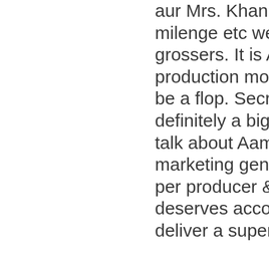aur Mrs. Khanna,phir milenge etc were all time grossers. It is Aamir khan production movie and it won't be a flop. Secret superstar definitely a big failure if we talk about Aamir as a marketing genius, while as per producer & actor he deserves accolades to deliver a superb